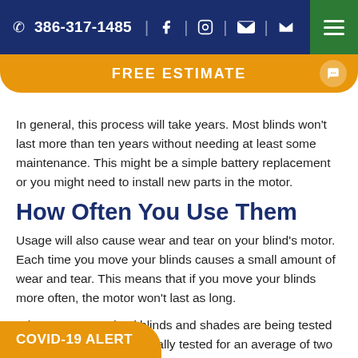386-317-1485
FREE ESTIMATE
In general, this process will take years. Most blinds won't last more than ten years without needing at least some maintenance. This might be a simple battery replacement or you might need to install new parts in the motor.
How Often You Use Them
Usage will also cause wear and tear on your blind's motor. Each time you move your blinds causes a small amount of wear and tear. This means that if you move your blinds more often, the motor won't last as long.
When most motorized blinds and shades are being tested for longevity, they are usually tested for an average of two day. So any numbers relating to
COVID-19 ALERT